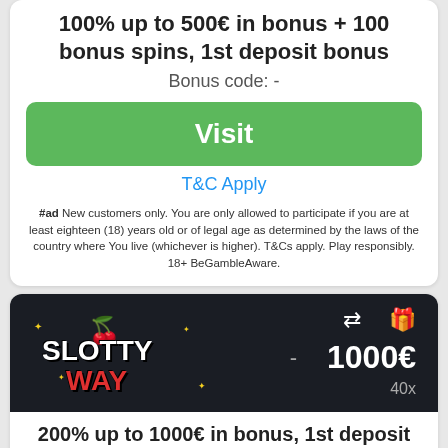100% up to 500€ in bonus + 100 bonus spins, 1st deposit bonus
Bonus code: -
Visit
T&C Apply
#ad New customers only. You are only allowed to participate if you are at least eighteen (18) years old or of legal age as determined by the laws of the country where You live (whichever is higher). T&Cs apply. Play responsibly. 18+ BeGambleAware.
[Figure (logo): Slotty Way casino logo on dark background with icons, bonus amount 1000€ and 40x wager]
200% up to 1000€ in bonus, 1st deposit bonus
Bonus code: -
Visit